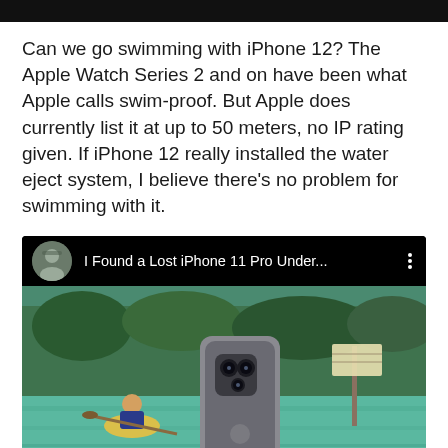Can we go swimming with iPhone 12? The Apple Watch Series 2 and on have been what Apple calls swim-proof. But Apple does currently list it at up to 50 meters, no IP rating given. If iPhone 12 really installed the water eject system, I believe there's no problem for swimming with it.
[Figure (screenshot): YouTube video thumbnail showing 'I Found a Lost iPhone 11 Pro Under...' with a person kayaking on a river and an iPhone 11 Pro held up in the foreground, with a play button overlay.]